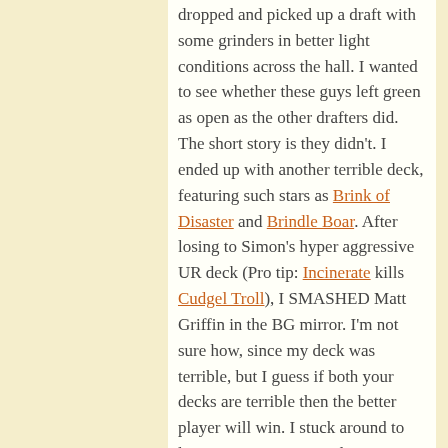dropped and picked up a draft with some grinders in better light conditions across the hall. I wanted to see whether these guys left green as open as the other drafters did. The short story is they didn't. I ended up with another terrible deck, featuring such stars as Brink of Disaster and Brindle Boar. After losing to Simon's hyper aggressive UR deck (Pro tip: Incinerate kills Cudgel Troll), I SMASHED Matt Griffin in the BG mirror. I'm not sure how, since my deck was terrible, but I guess if both your decks are terrible then the better player will win. I stuck around to lose to a spicy mono red concoction out of Jason Chung, picked up my 6th pick rares and signed up for the super FNM.